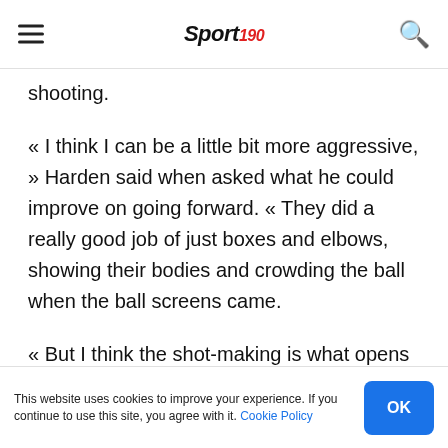Sport 190
shooting.
« I think I can be a little bit more aggressive, » Harden said when asked what he could improve on going forward. « They did a really good job of just boxes and elbows, showing their bodies and crowding the ball when the ball screens came.
« But I think the shot-making is what opens up the floor for our entire team. »
The matter-of-fact way Harden delivered that
This website uses cookies to improve your experience. If you continue to use this site, you agree with it. Cookie Policy